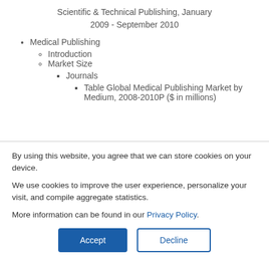Scientific & Technical Publishing, January 2009 - September 2010
Medical Publishing
Introduction
Market Size
Journals
Table Global Medical Publishing Market by Medium, 2008-2010P ($ in millions)
By using this website, you agree that we can store cookies on your device.
We use cookies to improve the user experience, personalize your visit, and compile aggregate statistics.
More information can be found in our Privacy Policy.